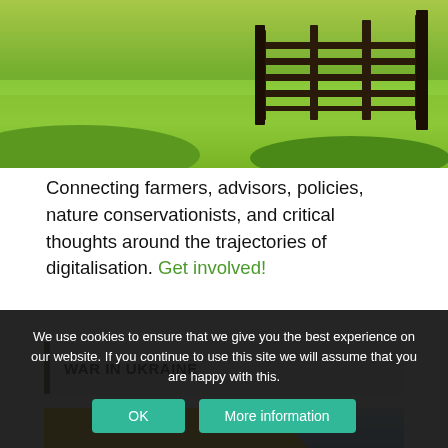[Figure (photo): Aerial view of a green farm field with wooden fence gate in the background]
Connecting farmers, advisors, policies, nature conservationists, and critical thoughts around the trajectories of digitalisation. Get involved!
WAR IN UKRAINE
[Figure (infographic): Partially visible image with yellow background shape and landscape photo, showing large italic text 'WAR IN' at the bottom]
We use cookies to ensure that we give you the best experience on our website. If you continue to use this site we will assume that you are happy with this.